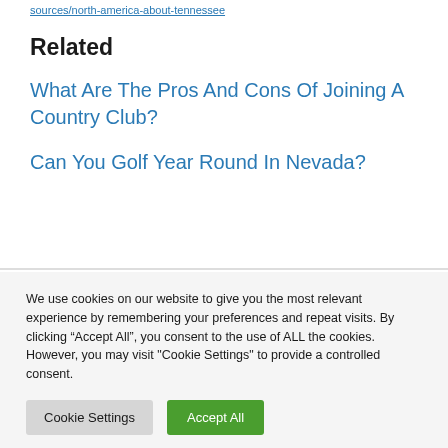sources/north-america-about-tennessee
Related
What Are The Pros And Cons Of Joining A Country Club?
Can You Golf Year Round In Nevada?
We use cookies on our website to give you the most relevant experience by remembering your preferences and repeat visits. By clicking “Accept All”, you consent to the use of ALL the cookies. However, you may visit "Cookie Settings" to provide a controlled consent.
Cookie Settings | Accept All